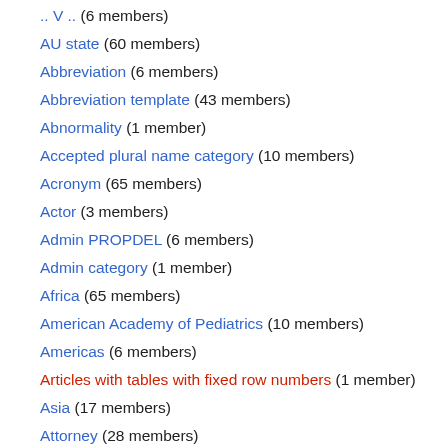.. V .. (6 members)
AU state (60 members)
Abbreviation (6 members)
Abbreviation template (43 members)
Abnormality (1 member)
Accepted plural name category (10 members)
Acronym (65 members)
Actor (3 members)
Admin PROPDEL (6 members)
Admin category (1 member)
Africa (65 members)
American Academy of Pediatrics (10 members)
Americas (6 members)
Articles with tables with fixed row numbers (1 member)
Asia (17 members)
Attorney (28 members)
Australia (117 members)
Austria (10 members)
Author (65 members)
BCM (77 members)